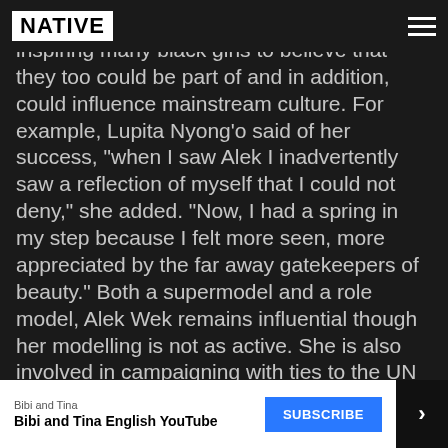NATIVE
quickly become a fixture in pop culture, inspiring many black girls to believe that they too could be part of and in addition, could influence mainstream culture. For example, Lupita Nyong'o said of her success, “when I saw Alek I inadvertently saw a reflection of myself that I could not deny,” she added. “Now, I had a spring in my step because I felt more seen, more appreciated by the far away gatekeepers of beauty.” Both a supermodel and a role model, Alek Wek remains influential though her modelling is not as active. She is also involved in campaigning with ties to the UN Refugee Agency, UNICEF, Doctors Without Borders, World Vision and is also an advisor to the US Committee for Refugees Advisory Council. Her book ALEK: From Sudanese Refugee to International Supermodel was a bestseller; it helped many girls to get a chance to...
Bibi and Tina
Bibi and Tina English YouTube
SUBSCRIBE